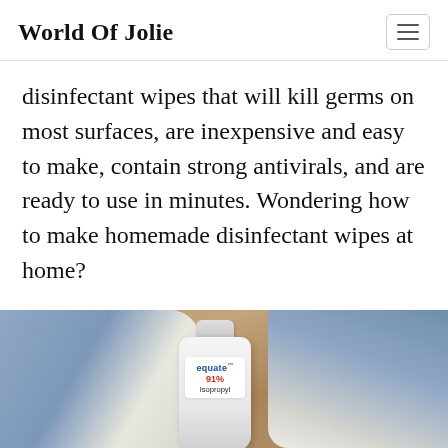World Of Jolie
disinfectant wipes that will kill germs on most surfaces, are inexpensive and easy to make, contain strong antivirals, and are ready to use in minutes. Wondering how to make homemade disinfectant wipes at home?
[Figure (photo): Photo of homemade disinfectant wipes made from denim/cloth fabric laid on a wood surface, with a white bottle of Equate 91% Isopropyl alcohol visible in the center.]